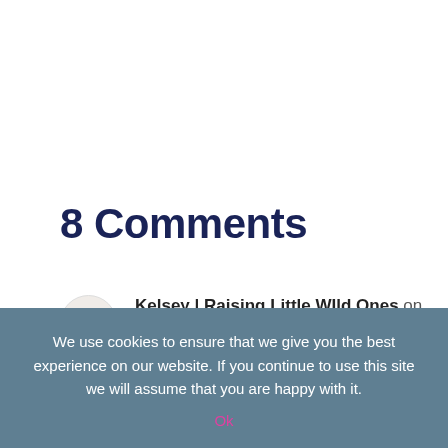8 Comments
Kelsey | Raising Little WIld Ones on February 17, 2018 at 6:21 pm
Love this! I'm definitely guilty of
We use cookies to ensure that we give you the best experience on our website. If you continue to use this site we will assume that you are happy with it.
Ok